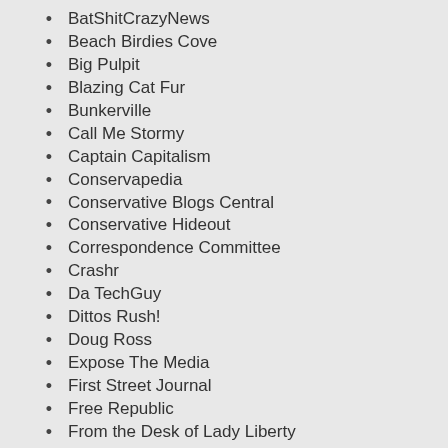BatShitCrazyNews
Beach Birdies Cove
Big Pulpit
Blazing Cat Fur
Bunkerville
Call Me Stormy
Captain Capitalism
Conservapedia
Conservative Blogs Central
Conservative Hideout
Correspondence Committee
Crashr
Da TechGuy
Dittos Rush!
Doug Ross
Expose The Media
First Street Journal
Free Republic
From the Desk of Lady Liberty